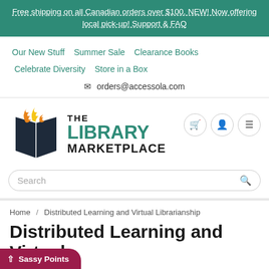Free shipping on all Canadian orders over $100. NEW! Now offering local pick-up! Support & FAQ
Our New Stuff   Summer Sale   Clearance Books   Celebrate Diversity   Store in a Box
orders@accessola.com
[Figure (logo): The Library Marketplace logo — open book with orange and yellow flame pages on dark navy cover, with text THE LIBRARY MARKETPLACE]
Search
Home / Distributed Learning and Virtual Librarianship
Distributed Learning and Virtual Librarianship